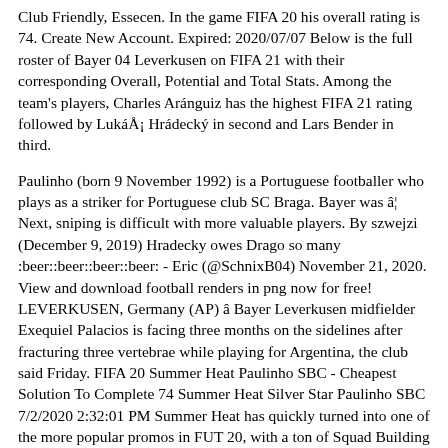Club Friendly, Essecen. In the game FIFA 20 his overall rating is 74. Create New Account. Expired: 2020/07/07 Below is the full roster of Bayer 04 Leverkusen on FIFA 21 with their corresponding Overall, Potential and Total Stats. Among the team's players, Charles Aránguiz has the highest FIFA 21 rating followed by LukáÅ¡ Hrádecký in second and Lars Bender in third.
Paulinho (born 9 November 1992) is a Portuguese footballer who plays as a striker for Portuguese club SC Braga. Bayer was â¦ Next, sniping is difficult with more valuable players. By szwejzi (December 9, 2019) Hradecky owes Drago so many :beer::beer::beer::beer: - Eric (@SchnixB04) November 21, 2020. View and download football renders in png now for free! LEVERKUSEN, Germany (AP) â Bayer Leverkusen midfielder Exequiel Palacios is facing three months on the sidelines after fracturing three vertebrae while playing for Argentina, the club said Friday. FIFA 20 Summer Heat Paulinho SBC - Cheapest Solution To Complete 74 Summer Heat Silver Star Paulinho SBC 7/2/2020 2:32:01 PM Summer Heat has quickly turned into one of the more popular promos in FUT 20, with a ton of Squad Building Challenges being offered to players, and the latest is a brand new Paulinho SBC special Silver Star card of 74 overall rating. Sports Team. Home » Guides » FIFA 20: How to Complete Flashback Paulinho SBC. On 27 April 2018, German club Bayer Leverkusen announced that they had reached an agreement with Vasco da Gama for the transfer of Paulinho, or. Our Bayer 04 squad with all